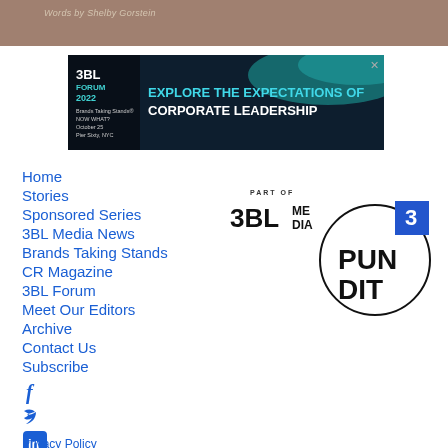Words by Shelby Gorstein
[Figure (infographic): 3BL Forum 2022 advertisement banner: Brands Taking Stands - Now What? October 25, Pier Sixty, NYC. EXPLORE THE EXPECTATIONS OF CORPORATE LEADERSHIP]
Home
Stories
Sponsored Series
3BL Media News
Brands Taking Stands
CR Magazine
3BL Forum
Meet Our Editors
Archive
Contact Us
Subscribe
[Figure (logo): PART OF 3BL MEDIA logo with Pundit circular logo featuring number 3]
Privacy Policy